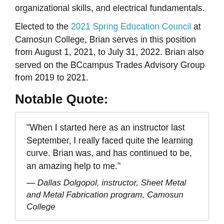organizational skills, and electrical fundamentals.
Elected to the 2021 Spring Education Council at Camosun College, Brian serves in this position from August 1, 2021, to July 31, 2022. Brian also served on the BCcampus Trades Advisory Group from 2019 to 2021.
Notable Quote:
“When I started here as an instructor last September, I really faced quite the learning curve. Brian was, and has continued to be, an amazing help to me.” — Dallas Dolgopol, instructor, Sheet Metal and Metal Fabrication program, Camosun College
Learn more: